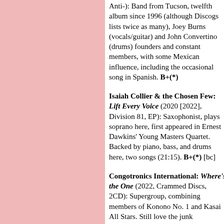Anti-): Band from Tucson, twelfth album since 1996 (although Discogs lists twice as many), Joey Burns (vocals/guitar) and John Convertino (drums) founders and constant members, with some Mexican influence, including the occasional song in Spanish. B+(*)
Isaiah Collier & the Chosen Few: Lift Every Voice (2020 [2022], Division 81, EP): Saxophonist, plays soprano here, first appeared in Ernest Dawkins' Young Masters Quartet. Backed by piano, bass, and drums here, two songs (21:15). B+(*) [bc]
Congotronics International: Where's the One (2022, Crammed Discs, 2CD): Supergroup, combining members of Konono No. 1 and Kasai All Stars. Still love the junk instruments, but a little de trop. B+(**) [sp]